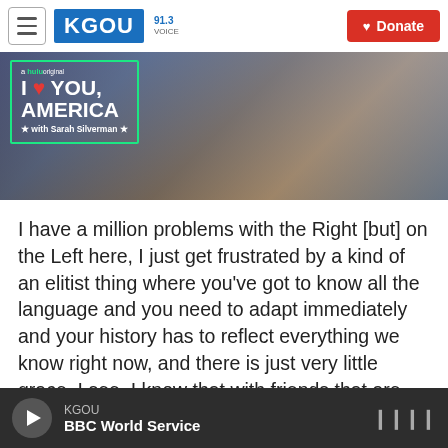[Figure (screenshot): KGOU radio station website header with hamburger menu, KGOU blue logo, voice badge, and red Donate button]
[Figure (photo): Hulu original show 'I Love You, America with Sarah Silverman' promotional image with green border overlay on a city background photo]
I have a million problems with the Right [but] on the Left here, I just get frustrated by a kind of an elitist thing where you've got to know all the language and you need to adapt immediately and your history has to reflect everything we know right now, and there is just very little grace, I see. I know that with friends that are nonbinary or their pronouns are they/them, I love embracing that and using it, but I mess up constantly ... and they always say,
KGOU  BBC World Service